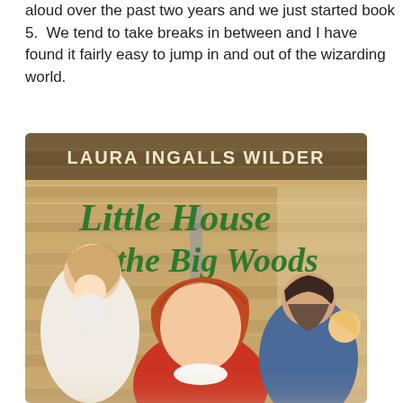aloud over the past two years and we just started book 5.  We tend to take breaks in between and I have found it fairly easy to jump in and out of the wizarding world.
[Figure (illustration): Book cover of 'Little House in the Big Woods' by Laura Ingalls Wilder, showing a girl with red hair in the foreground, a woman holding a baby on the left, and a bearded man with a girl on the right, set in a log cabin interior.]